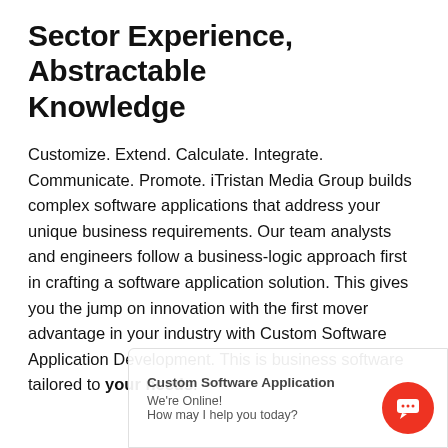Sector Experience, Abstractable Knowledge
Customize. Extend. Calculate. Integrate. Communicate. Promote. iTristan Media Group builds complex software applications that address your unique business requirements. Our team analysts and engineers follow a business-logic approach first in crafting a software application solution. This gives you the jump on innovation with the first mover advantage in your industry with Custom Software Application Development. This is business software tailored to your needs.